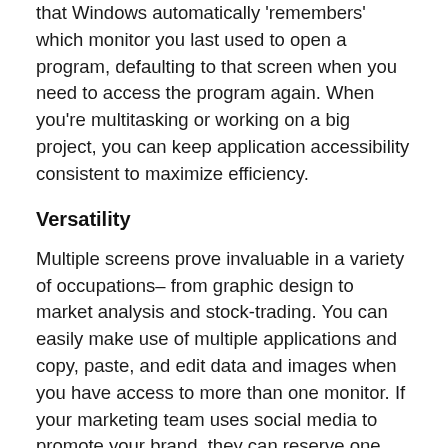that Windows automatically 'remembers' which monitor you last used to open a program, defaulting to that screen when you need to access the program again. When you're multitasking or working on a big project, you can keep application accessibility consistent to maximize efficiency.
Versatility
Multiple screens prove invaluable in a variety of occupations– from graphic design to market analysis and stock-trading. You can easily make use of multiple applications and copy, paste, and edit data and images when you have access to more than one monitor. If your marketing team uses social media to promote your brand, they can reserve one screen for Twitter and Instagram and keep other documents open on another